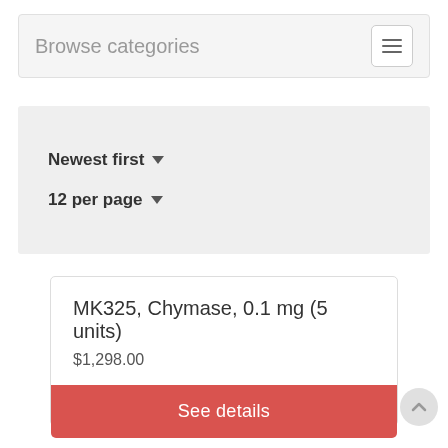Browse categories
Newest first
12 per page
MK325, Chymase, 0.1 mg (5 units)
$1,298.00
See details